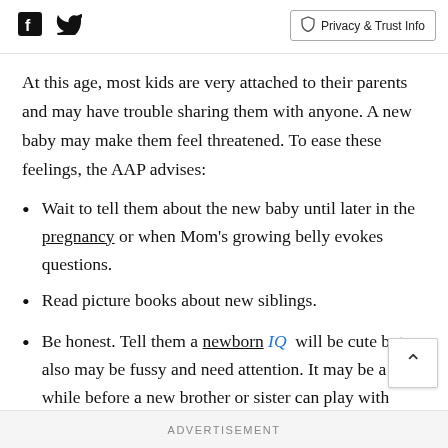[Facebook icon] [Twitter icon]   Privacy & Trust Info
At this age, most kids are very attached to their parents and may have trouble sharing them with anyone. A new baby may make them feel threatened. To ease these feelings, the AAP advises:
Wait to tell them about the new baby until later in the pregnancy or when Mom's growing belly evokes questions.
Read picture books about new siblings.
Be honest. Tell them a newborn IQ will be cute but also may be fussy and need attention. It may be a while before a new brother or sister can play with...
ADVERTISEMENT